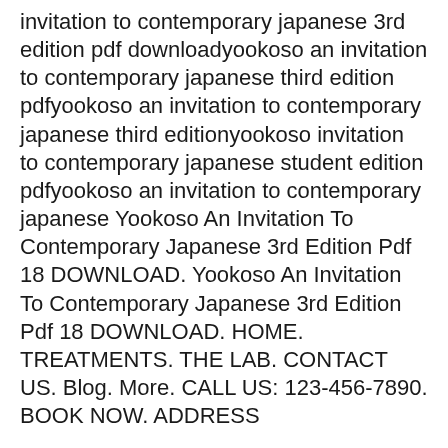invitation to contemporary japanese 3rd edition pdf downloadyookoso an invitation to contemporary japanese third edition pdfyookoso an invitation to contemporary japanese third editionyookoso invitation to contemporary japanese student edition pdfyookoso an invitation to contemporary japanese Yookoso An Invitation To Contemporary Japanese 3rd Edition Pdf 18 DOWNLOAD. Yookoso An Invitation To Contemporary Japanese 3rd Edition Pdf 18 DOWNLOAD. HOME. TREATMENTS. THE LAB. CONTACT US. Blog. More. CALL US: 123-456-7890. BOOK NOW. ADDRESS
Yookoso An Invitation To Contemporary